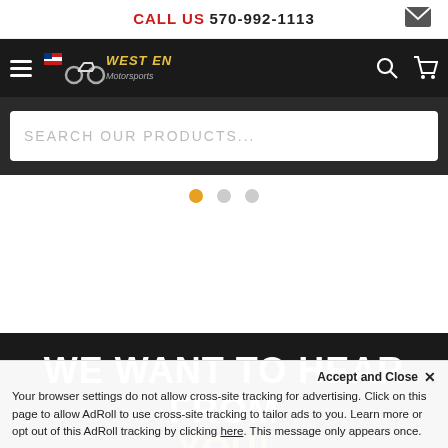CALL US 570-992-1113
[Figure (logo): West End Motorsports logo with motorcycle graphic and American flag, white text on dark navbar]
SEARCH OUR PRODUCTS...
[Figure (infographic): Carousel dot indicators: one orange/active dot and two grey/inactive dots]
WE WANT TO HEAR FROM YOU!
Accept and Close ✕
Your browser settings do not allow cross-site tracking for advertising. Click on this page to allow AdRoll to use cross-site tracking to tailor ads to you. Learn more or opt out of this AdRoll tracking by clicking here. This message only appears once.